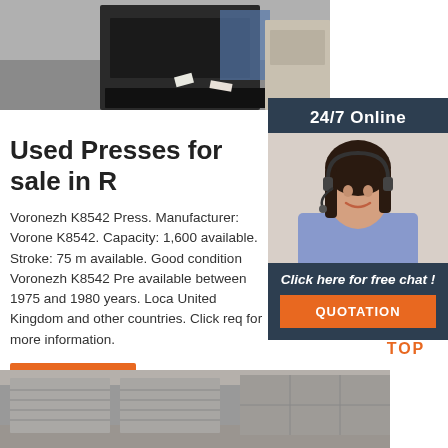[Figure (photo): Industrial press or machinery equipment in warehouse setting, top photo]
[Figure (photo): Customer service woman with headset smiling, 24/7 online chat widget]
Used Presses for sale in R
Voronezh K8542 Press. Manufacturer: Voronezh K8542. Capacity: 1,600 available. Stroke: 75 available. Good condition Voronezh K8542 Press available between 1975 and 1980 years. Location: United Kingdom and other countries. Click request for more information.
[Figure (other): Get Price orange button]
[Figure (logo): TOP icon with orange dots forming house/arrow shape above the word TOP]
[Figure (photo): Industrial warehouse interior, bottom photo]